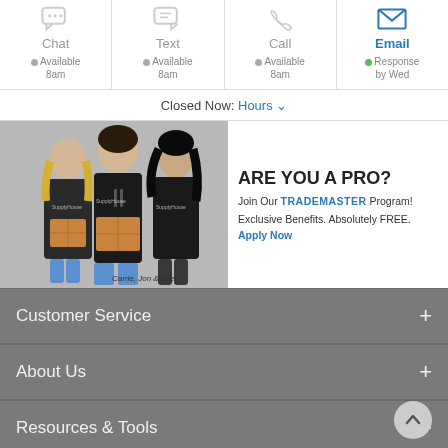[Figure (screenshot): Contact options row with Chat, Text, Call, Email icons and availability info]
Closed Now: Hours ∨
[Figure (photo): Three SupplyHouse.com employees (Carrie, Jon & Ellen) standing together holding boxes, with TradeMaster program promotional text: 'ARE YOU A PRO? Join Our TRADEMASTER Program! Exclusive Benefits. Absolutely FREE. Apply Now']
Customer Service +
About Us +
Resources & Tools +